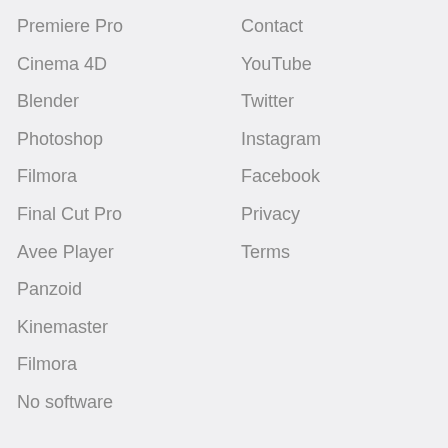Premiere Pro
Cinema 4D
Blender
Photoshop
Filmora
Final Cut Pro
Avee Player
Panzoid
Kinemaster
Filmora
No software
Contact
YouTube
Twitter
Instagram
Facebook
Privacy
Terms